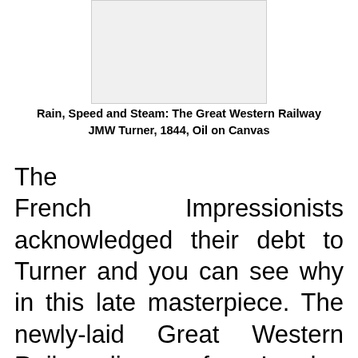[Figure (illustration): Image of the painting Rain, Speed and Steam: The Great Western Railway by JMW Turner]
Rain, Speed and Steam: The Great Western Railway
JMW Turner, 1844, Oil on Canvas
The French Impressionists acknowledged their debt to Turner and you can see why in this late masterpiece. The newly-laid Great Western Railway line ran from London to Bristol and Exeter. In this painting the train is viewed passing over Maidenhead Viaduct across the River Thames looking back east toward London. In his most famous painting, 'The Fighting Temeraire', Turner